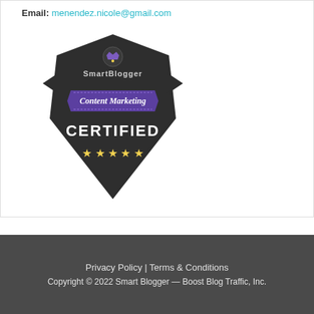Email: menendez.nicole@gmail.com
[Figure (logo): SmartBlogger Content Marketing Certified badge — dark shield shape with purple ribbon banner reading 'Content Marketing', bold white text 'CERTIFIED', five yellow stars, and a crown icon at the top.]
Privacy Policy | Terms & Conditions
Copyright © 2022 Smart Blogger — Boost Blog Traffic, Inc.